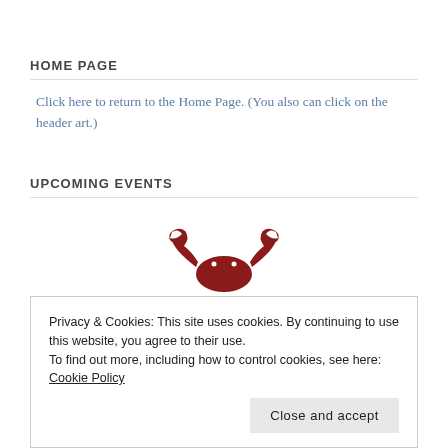HOME PAGE
Click here to return to the Home Page. (You also can click on the header art.)
UPCOMING EVENTS
[Figure (illustration): A red/dark-red crab icon illustration, partially visible at the bottom of the page]
Privacy & Cookies: This site uses cookies. By continuing to use this website, you agree to their use.
To find out more, including how to control cookies, see here: Cookie Policy